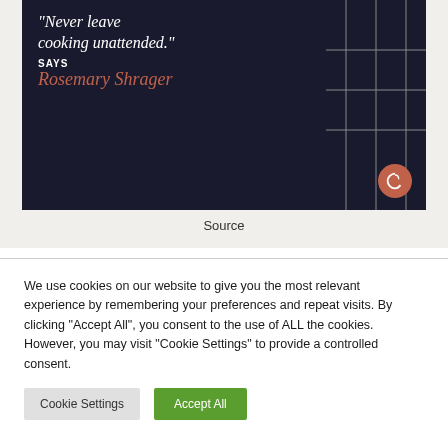[Figure (illustration): Dark-background vintage-style poster with white italic quote text 'Never leave cooking unattended.' and 'SAYS Rosemary Shrager' in script, with geometric kitchen line art on the right and a circular logo bottom right.]
Source
We use cookies on our website to give you the most relevant experience by remembering your preferences and repeat visits. By clicking "Accept All", you consent to the use of ALL the cookies. However, you may visit "Cookie Settings" to provide a controlled consent.